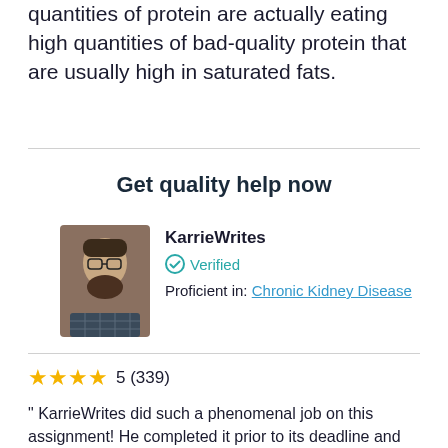quantities of protein are actually eating high quantities of bad-quality protein that are usually high in saturated fats.
Get quality help now
[Figure (photo): Profile photo of a man with glasses and a beard wearing a plaid shirt]
KarrieWrites
Verified
Proficient in: Chronic Kidney Disease
5 (339)
" KarrieWrites did such a phenomenal job on this assignment! He completed it prior to its deadline and was thorough and informative. "